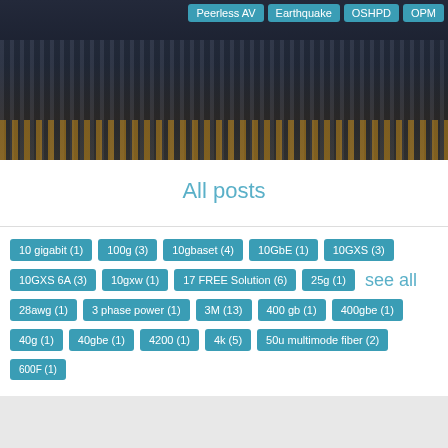[Figure (photo): Photo of a mixing board/audio console in a recording studio, partially visible with faders and knobs. Overlay tags: Peerless AV, Earthquake, OSHPD, OPM]
All posts
10 gigabit (1)
100g (3)
10gbaset (4)
10GbE (1)
10GXS (3)
10GXS 6A (3)
10gxw (1)
17 FREE Solution (6)
25g (1)
see all
28awg (1)
3 phase power (1)
3M (13)
400 gb (1)
400gbe (1)
40g (1)
40gbe (1)
4200 (1)
4k (5)
50u multimode fiber (2)